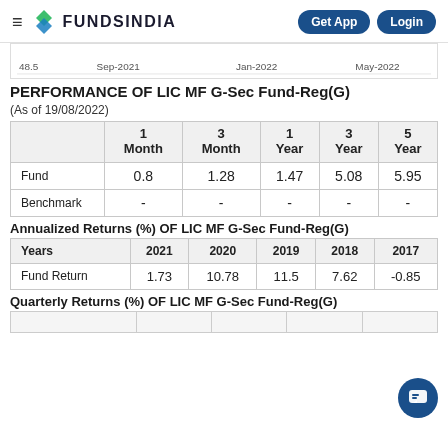FundsIndia — Get App | Login
[Figure (continuous-plot): Partial chart strip showing x-axis labels: 48.5, Sep-2021, Jan-2022, May-2022]
PERFORMANCE OF LIC MF G-Sec Fund-Reg(G)
(As of 19/08/2022)
|  | 1 Month | 3 Month | 1 Year | 3 Year | 5 Year |
| --- | --- | --- | --- | --- | --- |
| Fund | 0.8 | 1.28 | 1.47 | 5.08 | 5.95 |
| Benchmark | - | - | - | - | - |
Annualized Returns (%) OF LIC MF G-Sec Fund-Reg(G)
| Years | 2021 | 2020 | 2019 | 2018 | 2017 |
| --- | --- | --- | --- | --- | --- |
| Fund Return | 1.73 | 10.78 | 11.5 | 7.62 | -0.85 |
Quarterly Returns (%) OF LIC MF G-Sec Fund-Reg(G)